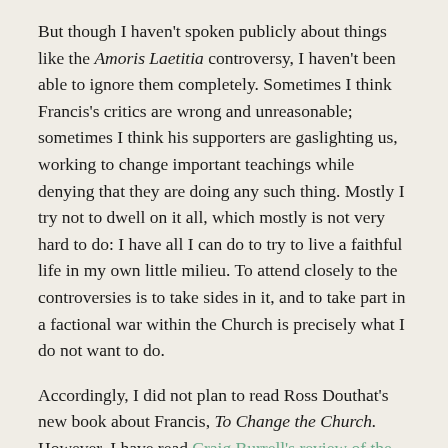But though I haven't spoken publicly about things like the Amoris Laetitia controversy, I haven't been able to ignore them completely. Sometimes I think Francis's critics are wrong and unreasonable; sometimes I think his supporters are gaslighting us, working to change important teachings while denying that they are doing any such thing. Mostly I try not to dwell on it all, which mostly is not very hard to do: I have all I can do to try to live a faithful life in my own little milieu. To attend closely to the controversies is to take sides in it, and to take part in a factional war within the Church is precisely what I do not want to do.
Accordingly, I did not plan to read Ross Douthat's new book about Francis, To Change the Church. However, I have read Craig Burrell's review of the book, and I recommend it